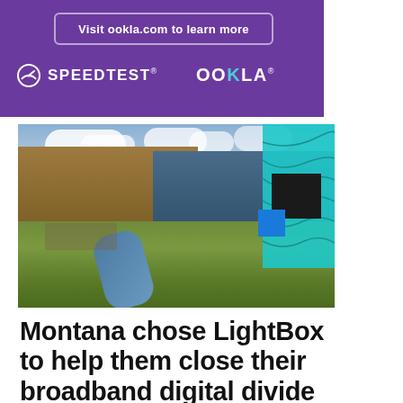Visit ookla.com to learn more
[Figure (logo): Speedtest by Ookla logo — circular speedometer icon followed by 'SPEEDTEST' wordmark and 'OOKLA' wordmark on purple background]
[Figure (photo): Aerial photograph of a mountain town in Montana with a river running through it, surrounded by mountains and autumn foliage, with a cyan/teal decorative topographic overlay in the top-right corner and black and blue geometric shapes]
Montana chose LightBox to help them close their broadband digital divide